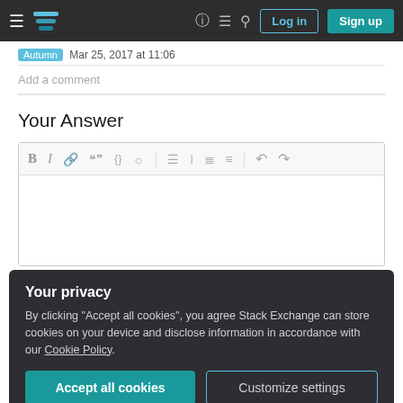Stack Exchange navigation bar with Log in and Sign up buttons
Autumn  Mar 25, 2017 at 11:06
Add a comment
Your Answer
[Figure (screenshot): Rich text editor toolbar with bold, italic, link, quote, code, image, ordered list, unordered list, alignment, undo, redo icons]
Your privacy
By clicking "Accept all cookies", you agree Stack Exchange can store cookies on your device and disclose information in accordance with our Cookie Policy.
Accept all cookies   Customize settings
Sign up or log in